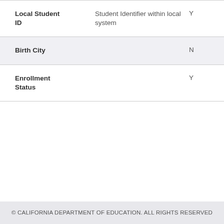| Field | Description | Required |
| --- | --- | --- |
| Local Student ID | Student Identifier within local system | Y |
| Birth City |  | N |
| Enrollment Status |  | Y |
© CALIFORNIA DEPARTMENT OF EDUCATION. ALL RIGHTS RESERVED